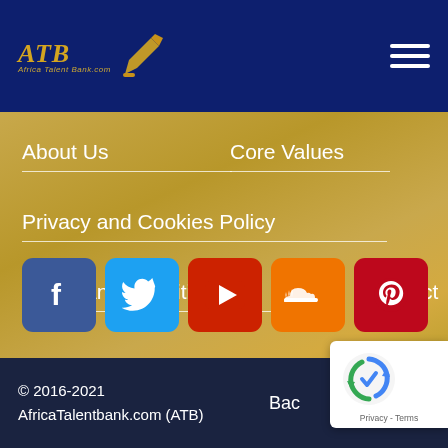[Figure (logo): ATB Africa Talent Bank logo with pen icon on dark blue background]
About Us
Core Values
Privacy and Cookies Policy
Terms and Conditions
Contact Us
[Figure (infographic): Social media icons row: Facebook (blue), Twitter (light blue), YouTube (red), SoundCloud (orange), Pinterest (dark red)]
© 2016-2021 AfricaTalentbank.com (ATB)